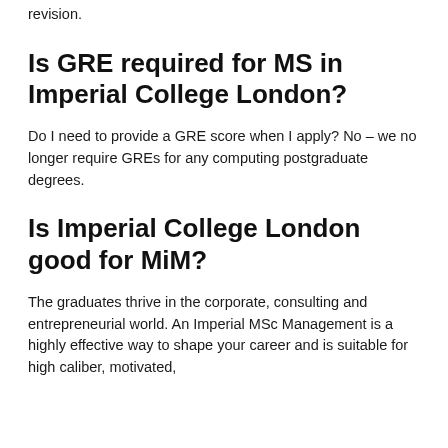revision.
Is GRE required for MS in Imperial College London?
Do I need to provide a GRE score when I apply? No – we no longer require GREs for any computing postgraduate degrees.
Is Imperial College London good for MiM?
The graduates thrive in the corporate, consulting and entrepreneurial world. An Imperial MSc Management is a highly effective way to shape your career and is suitable for high caliber, motivated,